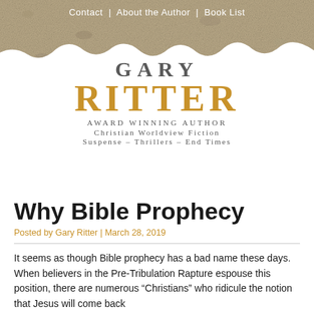Contact  |  About the Author  |  Book List
[Figure (logo): Gary Ritter Award Winning Author logo with torn paper texture background. Text reads: GARY RITTER, Award Winning Author, Christian Worldview Fiction, Suspense – Thrillers – End Times]
Why Bible Prophecy
Posted by Gary Ritter | March 28, 2019
It seems as though Bible prophecy has a bad name these days.  When believers in the Pre-Tribulation Rapture espouse this position, there are numerous "Christians" who ridicule the notion that Jesus will come back